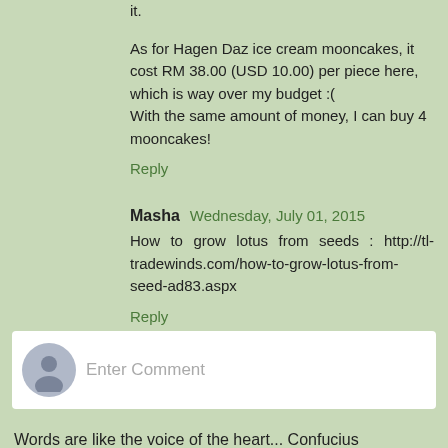it.
As for Hagen Daz ice cream mooncakes, it cost RM 38.00 (USD 10.00) per piece here, which is way over my budget :(
With the same amount of money, I can buy 4 mooncakes!
Reply
Masha  Wednesday, July 01, 2015
How to grow lotus from seeds : http://tl-tradewinds.com/how-to-grow-lotus-from-seed-ad83.aspx
Reply
[Figure (other): Enter Comment input box with user avatar icon]
Words are like the voice of the heart... Confucius
Note: If you are unable to comment on my latest